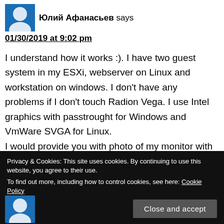Юлий Афанасьев says
01/30/2019 at 9:02 pm
I understand how it works :). I have two guest system in my ESXi, webserver on Linux and workstation on windows. I don't have any problems if I don't touch Radion Vega. I use Intel graphics with passtrought for Windows and VmWare SVGA for Linux.
I would provide you with photo of my monitor with issue, but this site doesn't acsepa any links in comments.
Privacy & Cookies: This site uses cookies. By continuing to use this website, you agree to their use.
To find out more, including how to control cookies, see here: Cookie Policy
Close and accept